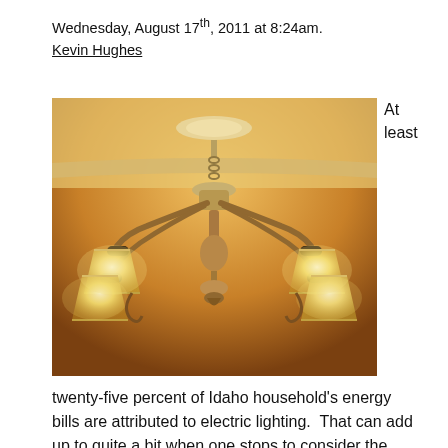Wednesday, August 17th, 2011 at 8:24am.
Kevin Hughes
[Figure (photo): A decorative chandelier with multiple lamp shades glowing warm yellow light, hanging from a ceiling, photographed against a warm amber background.]
At least
twenty-five percent of Idaho household's energy bills are attributed to electric lighting.  That can add up to quite a bit when one stops to consider the demand